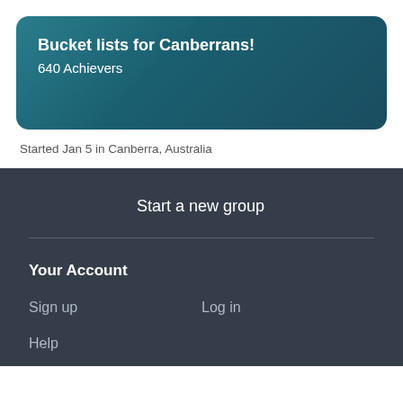Bucket lists for Canberrans!
640 Achievers
Started Jan 5 in Canberra, Australia
Start a new group
Your Account
Sign up
Log in
Help